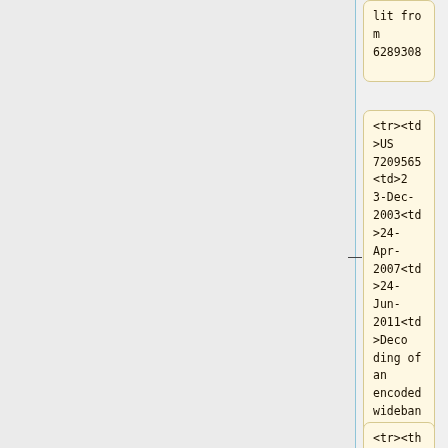lit from 6289308
<tr><td>US 7209565<td>23-Dec-2003<td>24-Apr-2007<td>24-Jun-2011<td>Decoding of an encoded wideband digital audio signal in a transmission (padding pit)
<tr><th colspan=4>Th